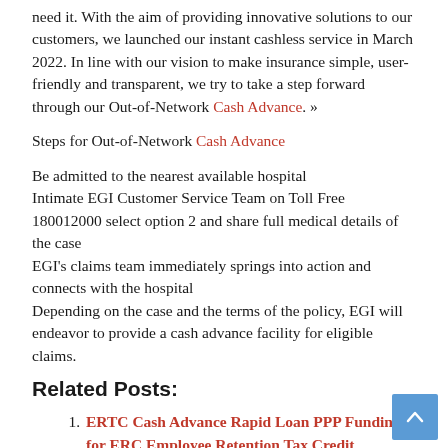need it. With the aim of providing innovative solutions to our customers, we launched our instant cashless service in March 2022. In line with our vision to make insurance simple, user-friendly and transparent, we try to take a step forward through our Out-of-Network Cash Advance. »
Steps for Out-of-Network Cash Advance
Be admitted to the nearest available hospital
Intimate EGI Customer Service Team on Toll Free 180012000 select option 2 and share full medical details of the case
EGI's claims team immediately springs into action and connects with the hospital
Depending on the case and the terms of the policy, EGI will endeavor to provide a cash advance facility for eligible claims.
Related Posts:
ERTC Cash Advance Rapid Loan PPP Funding for ERC Employee Retention Tax Credit
Reasons for the popularity of cash advances